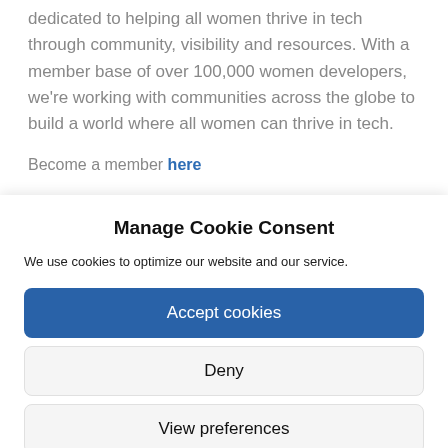dedicated to helping all women thrive in tech through community, visibility and resources. With a member base of over 100,000 women developers, we're working with communities across the globe to build a world where all women can thrive in tech.
Become a member here
Manage Cookie Consent
We use cookies to optimize our website and our service.
Accept cookies
Deny
View preferences